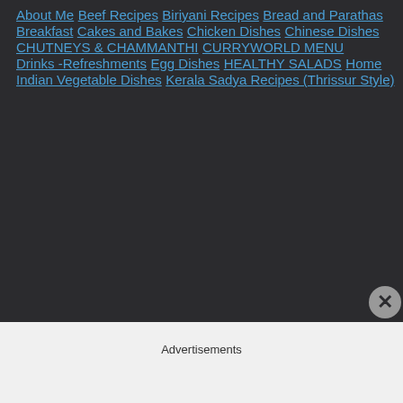About Me
Beef Recipes
Biriyani Recipes
Bread and Parathas
Breakfast
Cakes and Bakes
Chicken Dishes
Chinese Dishes
CHUTNEYS & CHAMMANTHI
CURRYWORLD MENU
Drinks -Refreshments
Egg Dishes
HEALTHY SALADS
Home
Indian Vegetable Dishes
Kerala Sadya Recipes (Thrissur Style)
Advertisements